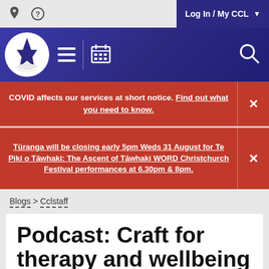Log In / My CCL
[Figure (logo): Christchurch City Libraries logo - white spire/church icon in a circle on dark blue background with navigation icons (hamburger menu, calendar) and search icon]
COVID affects our services at short notice. Find out what you need to know.
Tūranga will be closing early 5pm Weds 31 August for Te Piki o Tāwhaki: The Ascent of Tāwhaki WORD Christchurch Festival performances at 6.30pm & 8pm.
Blogs > Cclstaff
Podcast: Craft for therapy and wellbeing